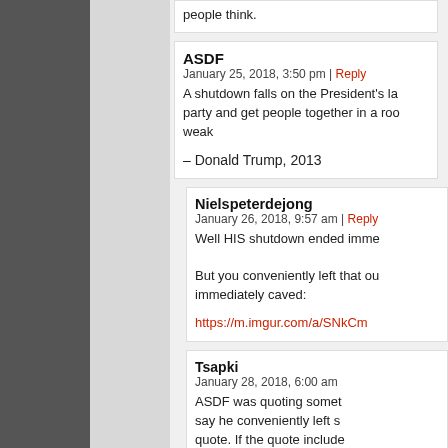people think.
ASDF
January 25, 2018, 3:50 pm | Reply
A shutdown falls on the President's la... party and get people together in a roo... weak

– Donald Trump, 2013
Nielspeterdejong
January 26, 2018, 9:57 am | Reply
Well HIS shutdown ended imme...

But you conveniently left that ou... immediately caved:

https://m.imgur.com/a/SNkCm
Tsapki
January 28, 2018, 6:00 am
ASDF was quoting somet... say he conveniently left s... quote. If the quote include... ended a government shu... cited quote, that would m...